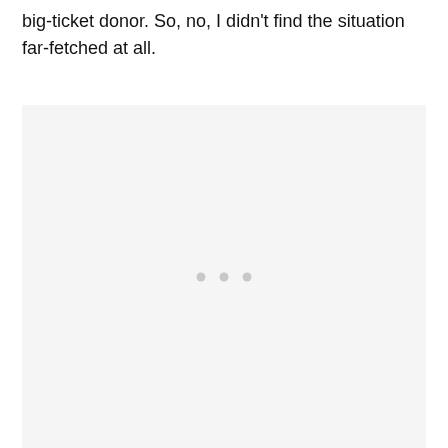big-ticket donor. So, no, I didn't find the situation far-fetched at all.
[Figure (other): Large light gray rectangular placeholder box with three small gray dots centered vertically in the lower half of the box.]